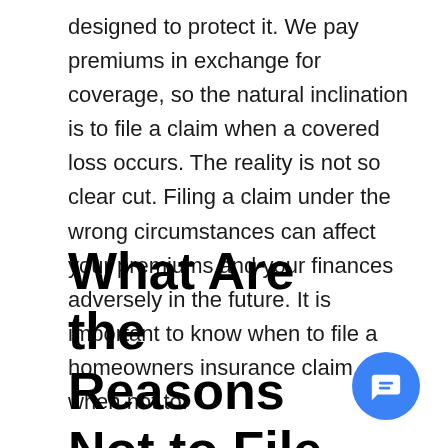designed to protect it. We pay premiums in exchange for coverage, so the natural inclination is to file a claim when a covered loss occurs. The reality is not so clear cut. Filing a claim under the wrong circumstances can affect your premiums and your finances adversely in the future. It is important to know when to file a homeowners insurance claim, and when not to.
What Are the Reasons Not to File a Homeowners Insurance Claim?